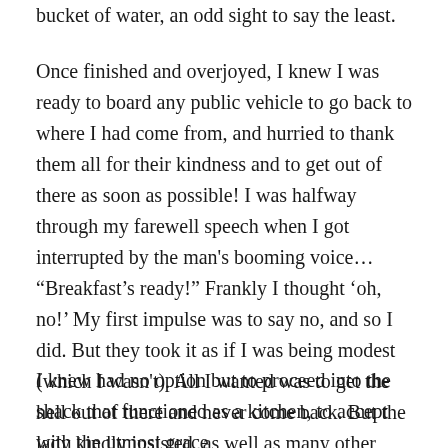bucket of water, an odd sight to say the least.
Once finished and overjoyed, I knew I was ready to board any public vehicle to go back to where I had come from, and hurried to thank them all for their kindness and to get out of there as soon as possible! I was halfway through my farewell speech when I got interrupted by the man's booming voice… “Breakfast's ready!” Frankly I thought ‘oh, no!’ My first impulse was to say no, and so I did. But they took it as if I was being modest (which I wasn't). All I wanted was to get the hell out of there and never come back. But the lady kindly insisted, as well as many other members of their family, so in the end, I had no other choice but to play along, lest I would insult them.
I knew had no option but to proceed into the shack that functioned as a kitchen, to accept with the utmost grace